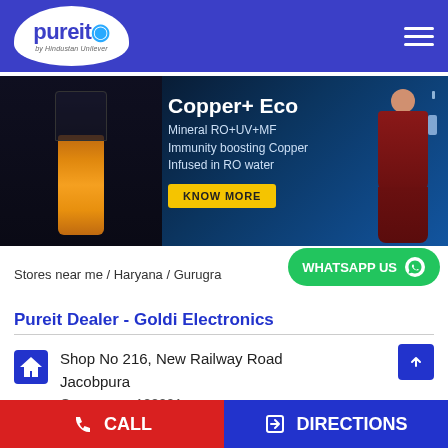[Figure (screenshot): Pureit by Hindustan Unilever logo in white teardrop/egg shape on blue navigation bar with hamburger menu icon]
[Figure (infographic): Pureit Copper+ Eco water purifier advertisement banner showing product (black unit with copper/orange dispenser), text 'Copper+ Eco Mineral RO+UV+MF Immunity boosting Copper Infused in RO water', KNOW MORE button, and a woman in red saree holding glass]
Stores near me / Haryana / Gurugram
[Figure (screenshot): Green WhatsApp US button with WhatsApp icon]
Pureit Dealer - Goldi Electronics
Shop No 216, New Railway Road
Jacobpura
Gurugram - 122001
CALL   DIRECTIONS